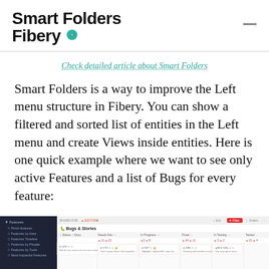Smart Folders Fibery
Check detailed article about Smart Folders
Smart Folders is a way to improve the Left menu structure in Fibery. You can show a filtered and sorted list of entities in the Left menu and create Views inside entities. Here is one quick example where we want to see only active Features and a list of Bugs for every feature:
[Figure (screenshot): Screenshot of Fibery application showing Smart Folders with left sidebar listing Features (Pinch Features, Features by Area, Features Timeline, Features by People, Features by Tools, Most Impactful Features) and main content area showing Bugs & Stories board with columns: Needs Dev, In Progress, Fixed, In Testing, Tested.]